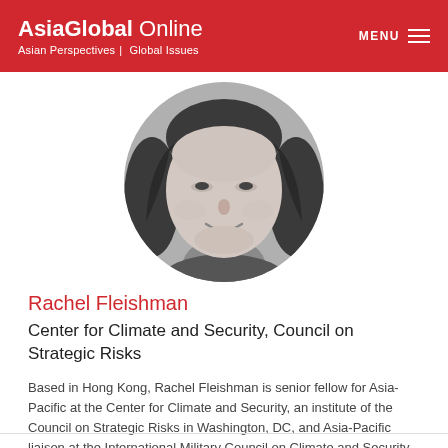AsiaGlobal Online — Asian Perspectives | Global Issues — MENU
[Figure (photo): Black and white circular portrait photo of Rachel Fleishman, a woman with dark hair, smiling slightly, cropped to show face and shoulders.]
Rachel Fleishman
Center for Climate and Security, Council on Strategic Risks
Based in Hong Kong, Rachel Fleishman is senior fellow for Asia-Pacific at the Center for Climate and Security, an institute of the Council on Strategic Risks in Washington, DC, and Asia-Pacific liaison at the International Military Council on Climate and Security (IMCCS).